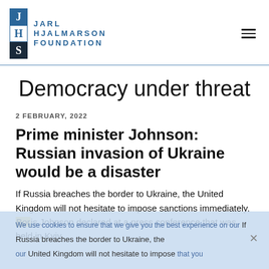Jarl Hjalmarson Foundation
Democracy under threat
2 FEBRUARY, 2022
Prime minister Johnson: Russian invasion of Ukraine would be a disaster
If Russia breaches the border to Ukraine, the United Kingdom will not hesitate to impose sanctions immediately, Boris Johnson declared at a press conference that was held in Kyiv
We use cookies to ensure that we give you the best experience on our ... that you